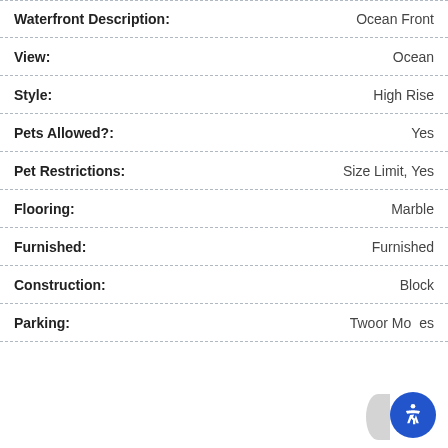| Field | Value |
| --- | --- |
| Waterfront Description: | Ocean Front |
| View: | Ocean |
| Style: | High Rise |
| Pets Allowed?: | Yes |
| Pet Restrictions: | Size Limit, Yes |
| Flooring: | Marble |
| Furnished: | Furnished |
| Construction: | Block |
| Parking: | Twoor Mo...es |